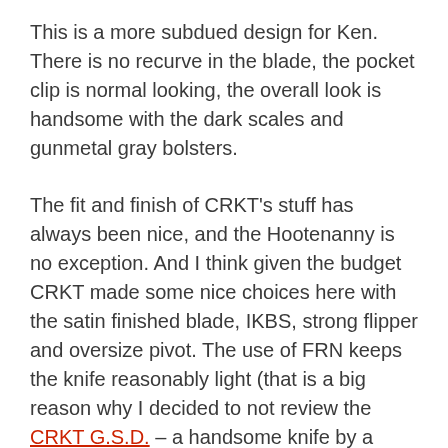This is a more subdued design for Ken. There is no recurve in the blade, the pocket clip is normal looking, the overall look is handsome with the dark scales and gunmetal gray bolsters.
The fit and finish of CRKT's stuff has always been nice, and the Hootenanny is no exception. And I think given the budget CRKT made some nice choices here with the satin finished blade, IKBS, strong flipper and oversize pivot. The use of FRN keeps the knife reasonably light (that is a big reason why I decided to not review the CRKT G.S.D. – a handsome knife by a popular designer, but